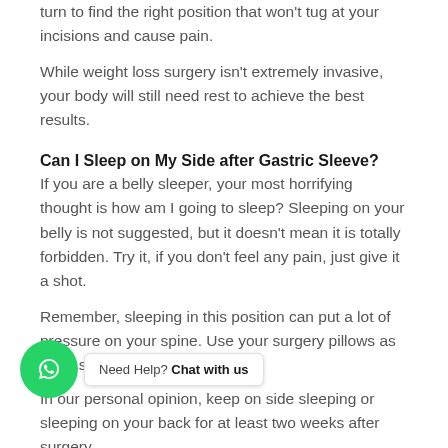turn to find the right position that won't tug at your incisions and cause pain.
While weight loss surgery isn't extremely invasive, your body will still need rest to achieve the best results.
Can I Sleep on My Side after Gastric Sleeve?
If you are a belly sleeper, your most horrifying thought is how am I going to sleep? Sleeping on your belly is not suggested, but it doesn't mean it is totally forbidden. Try it, if you don't feel any pain, just give it a shot.
Remember, sleeping in this position can put a lot of pressure on your spine. Use your surgery pillows as extra support for your body.
In our personal opinion, keep on side sleeping or sleeping on your back for at least two weeks after surgery.